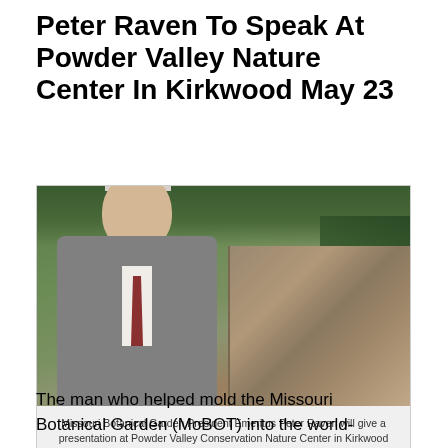Peter Raven To Speak At Powder Valley Nature Center In Kirkwood May 23
[Figure (photo): Photo of Missouri Botanical Garden President Emeritus Peter Raven standing in a suit with stone steps and foliage in the background]
Missouri Botanical Garden President Emeritus Peter Raven will give a presentation at Powder Valley Conservation Nature Center in Kirkwood at 7 p.m. Tuesday, May 23. Dr. Raven one of the world's leading botanists and advocates of conservation and biodiversity.
The man who helped mold the Missouri Botanical Garden (MoBOT) into the world-class institution it is today will speak at the